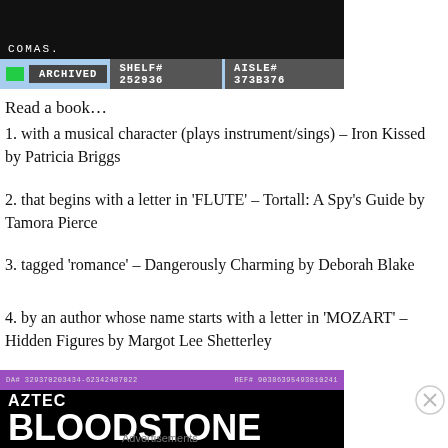[Figure (screenshot): Dark archived item bar showing ARCHIVED, SHELF# 252936, AISLE# 373B376 in a retro computer UI style with light blue background and green square indicator]
Read a book…
1. with a musical character (plays instrument/sings) – Iron Kissed by Patricia Briggs
2. that begins with a letter in 'FLUTE' – Tortall: A Spy's Guide by Tamora Pierce
3. tagged 'romance' – Dangerously Charming by Deborah Blake
4. by an author whose name starts with a letter in 'MOZART' – Hidden Figures by Margot Lee Shetterley
[Figure (screenshot): Book cover screenshot for AZTEC BLOODSTONE with white bold text on black background and purple bar]
Advertisements
Professionally designed sites in less than a week